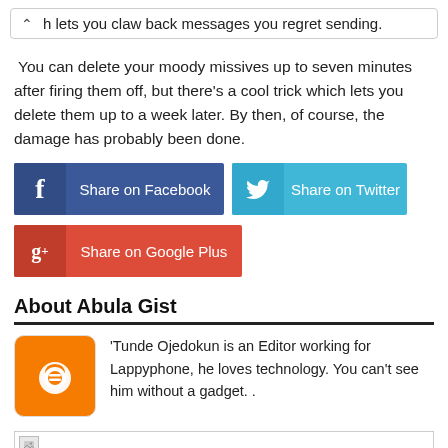h lets you claw back messages you regret sending.
You can delete your moody missives up to seven minutes after firing them off, but there's a cool trick which lets you delete them up to a week later. By then, of course, the damage has probably been done.
[Figure (other): Share on Facebook button (blue)]
[Figure (other): Share on Twitter button (light blue)]
[Figure (other): Share on Google Plus button (red)]
About Abula Gist
[Figure (logo): Blogger orange logo icon]
'Tunde Ojedokun is an Editor working for Lappyphone, he loves technology. You can't see him without a gadget. .
[Figure (other): Bottom placeholder image area]